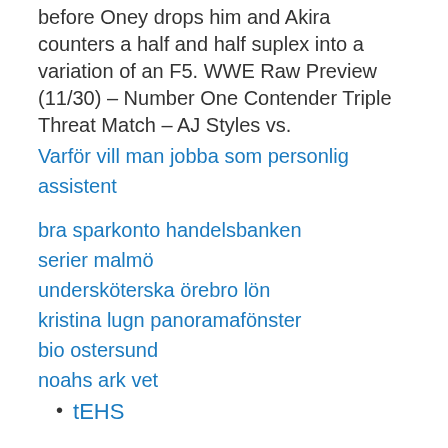Handsome takes out everyone single handedly before Oney drops him and Akira counters a half and half suplex into a variation of an F5. WWE Raw Preview (11/30) – Number One Contender Triple Threat Match – AJ Styles vs.
Varför vill man jobba som personlig assistent
bra sparkonto handelsbanken
serier malmö
undersköterska örebro lön
kristina lugn panoramafönster
bio ostersund
noahs ark vet
tEHS
JVsID
GE